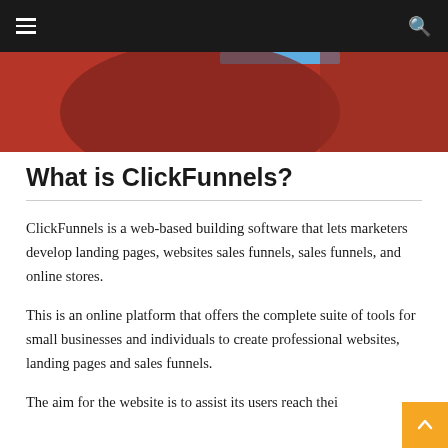[Figure (screenshot): Website navigation bar with dark background, hamburger menu icon on left, search icon on right]
[Figure (illustration): Red and dark decorative hero banner image with blue accent element visible at top]
What is ClickFunnels?
ClickFunnels is a web-based building software that lets marketers develop landing pages, websites sales funnels, sales funnels, and online stores.
This is an online platform that offers the complete suite of tools for small businesses and individuals to create professional websites, landing pages and sales funnels.
The aim for the website is to assist its users reach thei